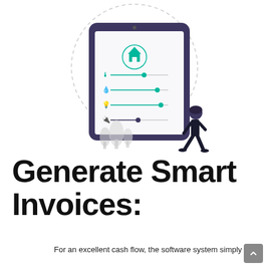[Figure (illustration): A tablet device showing a smart home control interface with utility sliders (temperature, water, light, etc.) and a teal house icon. A dashed circle surrounds the top of the tablet. A walking female figure stands to the right, and stylized gray trees appear to the left bottom.]
Generate Smart Invoices:
For an excellent cash flow, the software system simply